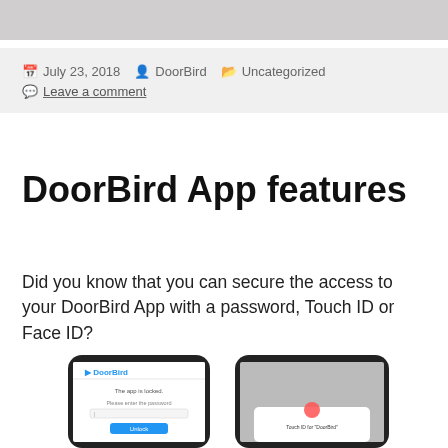[Figure (screenshot): Top decorative grey image strip]
July 23, 2018  DoorBird  Uncategorized  Leave a comment
DoorBird App features
Did you know that you can secure the access to your DoorBird App with a password, Touch ID or Face ID?
[Figure (screenshot): Two smartphones showing the DoorBird app lock screen and Touch ID prompt]